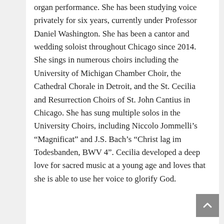organ performance. She has been studying voice privately for six years, currently under Professor Daniel Washington. She has been a cantor and wedding soloist throughout Chicago since 2014. She sings in numerous choirs including the University of Michigan Chamber Choir, the Cathedral Chorale in Detroit, and the St. Cecilia and Resurrection Choirs of St. John Cantius in Chicago. She has sung multiple solos in the University Choirs, including Niccolo Jommelli's “Magnificat” and J.S. Bach’s “Christ lag im Todesbanden, BWV 4”. Cecilia developed a deep love for sacred music at a young age and loves that she is able to use her voice to glorify God.